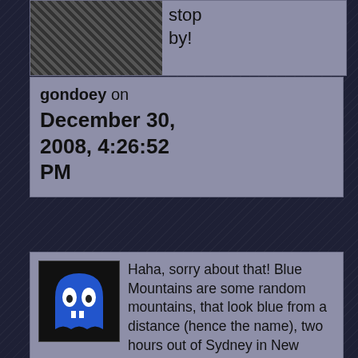stop by!
gondoey on December 30, 2008, 4:26:52 PM
Haha, sorry about that! Blue Mountains are some random mountains, that look blue from a distance (hence the name), two hours out of Sydney in New Sounth Wales, Australia. Lol.
My gawd, you are SO lucky. I still